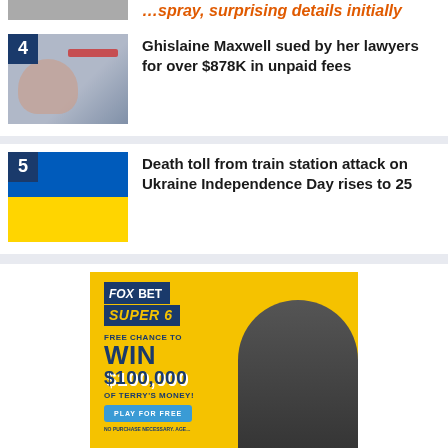[Figure (photo): Partial thumbnail image at top, cropped]
4 Ghislaine Maxwell sued by her lawyers for over $878K in unpaid fees
[Figure (photo): Photo related to Ghislaine Maxwell news item with number badge 4]
5 Death toll from train station attack on Ukraine Independence Day rises to 25
[Figure (photo): Photo of Ukrainian flag with number badge 5]
[Figure (infographic): FOX BET SUPER 6 advertisement. Free chance to WIN $100,000 of Terry's Money! Play for Free. No Purchase Necessary. Age restrictions apply.]